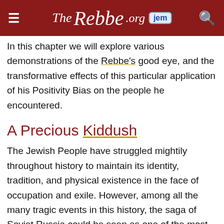TheRebbe.org jem
In this chapter we will explore various demonstrations of the Rebbe's good eye, and the transformative effects of this particular application of his Positivity Bias on the people he encountered.
A Precious Kiddush
The Jewish People have struggled mightily throughout history to maintain its identity, tradition, and physical existence in the face of occupation and exile. However, among all the many tragic events in this history, the saga of Soviet Russia could be seen as one of the most forceful and successful attempts at stomping out the Jewish spirit. In other, earlier